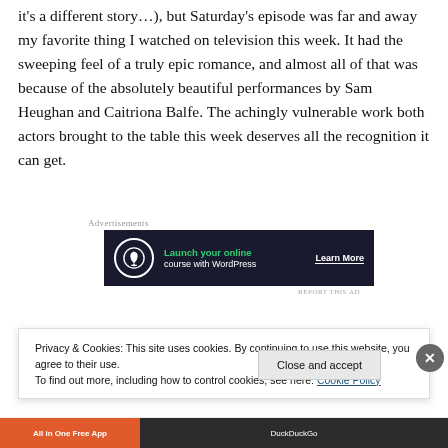it's a different story…), but Saturday's episode was far and away my favorite thing I watched on television this week. It had the sweeping feel of a truly epic romance, and almost all of that was because of the absolutely beautiful performances by Sam Heughan and Caitriona Balfe. The achingly vulnerable work both actors brought to the table this week deserves all the recognition it can get.
[Figure (screenshot): Dark-background advertisement banner: 'Launch your online course with WordPress' with 'Learn More' call to action and a bonsai tree icon]
While I loved everything about the trial at the beginning of
Privacy & Cookies: This site uses cookies. By continuing to use this website, you agree to their use.
To find out more, including how to control cookies, see here: Cookie Policy
Close and accept